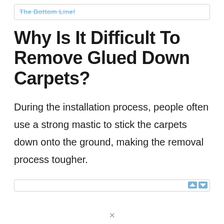The Bottom Line!
Why Is It Difficult To Remove Glued Down Carpets?
During the installation process, people often use a strong mastic to stick the carpets down onto the ground, making the removal process tougher.
[Figure (other): Advertisement bar with nav icons]